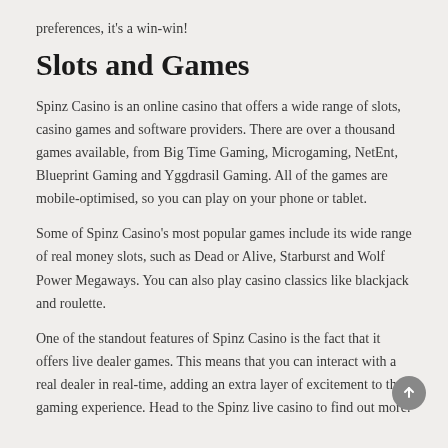preferences, it's a win-win!
Slots and Games
Spinz Casino is an online casino that offers a wide range of slots, casino games and software providers. There are over a thousand games available, from Big Time Gaming, Microgaming, NetEnt, Blueprint Gaming and Yggdrasil Gaming. All of the games are mobile-optimised, so you can play on your phone or tablet.
Some of Spinz Casino's most popular games include its wide range of real money slots, such as Dead or Alive, Starburst and Wolf Power Megaways. You can also play casino classics like blackjack and roulette.
One of the standout features of Spinz Casino is the fact that it offers live dealer games. This means that you can interact with a real dealer in real-time, adding an extra layer of excitement to the gaming experience. Head to the Spinz live casino to find out more.